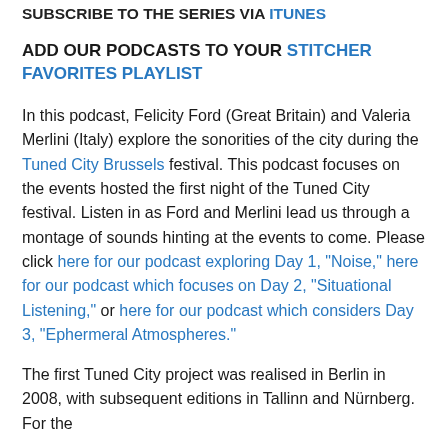SUBSCRIBE TO THE SERIES VIA ITUNES
ADD OUR PODCASTS TO YOUR STITCHER FAVORITES PLAYLIST
In this podcast, Felicity Ford (Great Britain) and Valeria Merlini (Italy) explore the sonorities of the city during the Tuned City Brussels festival. This podcast focuses on the events hosted the first night of the Tuned City festival. Listen in as Ford and Merlini lead us through a montage of sounds hinting at the events to come. Please click here for our podcast exploring Day 1, "Noise," here for our podcast which focuses on Day 2, "Situational Listening," or here for our podcast which considers Day 3, "Ephermeral Atmospheres."
The first Tuned City project was realised in Berlin in 2008, with subsequent editions in Tallinn and Nürnberg. For the